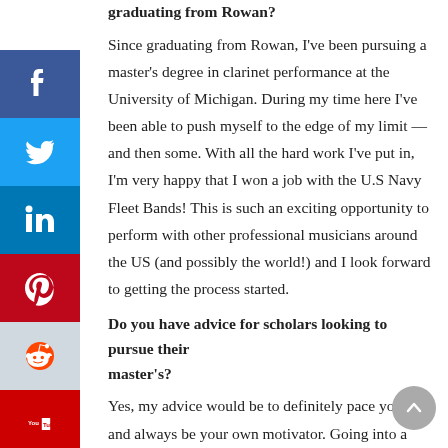graduating from Rowan?
Since graduating from Rowan, I've been pursuing a master's degree in clarinet performance at the University of Michigan. During my time here I've been able to push myself to the edge of my limit — and then some. With all the hard work I've put in, I'm very happy that I won a job with the U.S. Navy Fleet Bands! This is such an exciting opportunity to perform with other professional musicians around the US (and possibly the world!) and I look forward to getting the process started.
Do you have advice for scholars looking to pursue their master's?
Yes, my advice would be to definitely pace yourself and always be your own motivator. Going into a master's program is super intense because you're surrounded by so